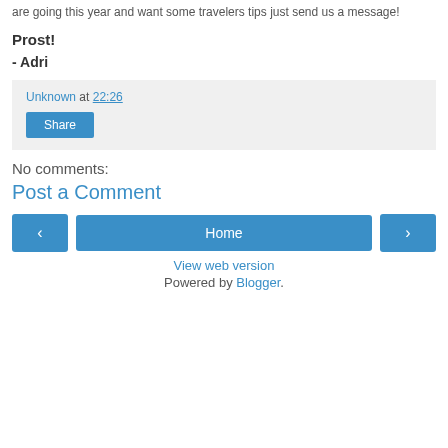are going this year and want some travelers tips just send us a message!
Prost!
- Adri
Unknown at 22:26
Share
No comments:
Post a Comment
Home
View web version
Powered by Blogger.